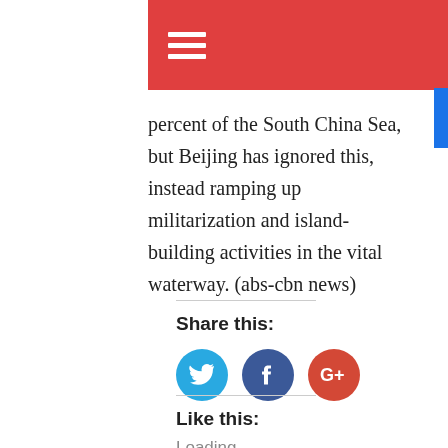[Figure (screenshot): Red navigation bar with hamburger menu icon (three white horizontal lines)]
percent of the South China Sea, but Beijing has ignored this, instead ramping up militarization and island-building activities in the vital waterway. (abs-cbn news)
Share this:
[Figure (infographic): Social share buttons: Twitter (blue circle), Facebook (dark blue circle), Google+ (red circle)]
Like this:
Loading...
Related